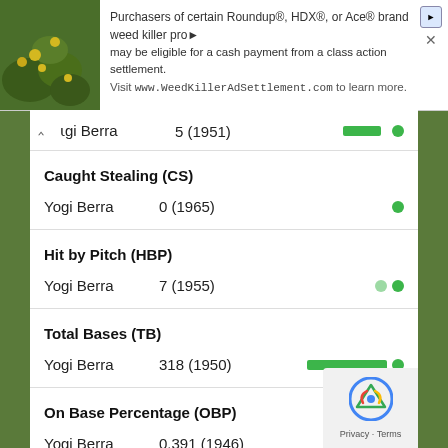[Figure (screenshot): Advertisement banner: Roundup/HDX/Ace weed killer class action settlement notice with plant image]
Purchasers of certain Roundup®, HDX®, or Ace® brand weed killer pro... may be eligible for a cash payment from a class action settlement. Visit www.WeedKillerAdSettlement.com to learn more.
Yogi Berra    5 (1951)
Caught Stealing (CS)
Yogi Berra    0 (1965)
Hit by Pitch (HBP)
Yogi Berra    7 (1955)
Total Bases (TB)
Yogi Berra    318 (1950)
On Base Percentage (OBP)
Yogi Berra    0.391 (1946)